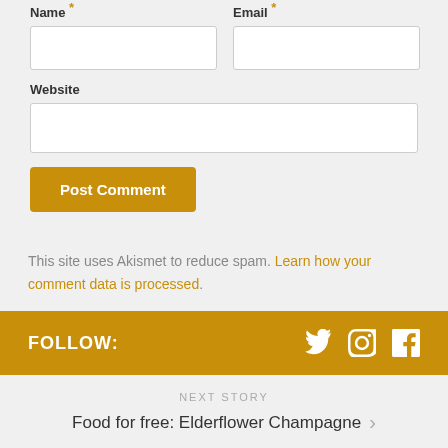Name *
Email *
Website
Post Comment
This site uses Akismet to reduce spam. Learn how your comment data is processed.
FOLLOW:
NEXT STORY
Food for free: Elderflower Champagne
PREVIOUS STORY